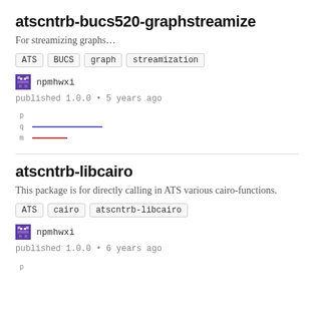atscntrb-bucs520-graphstreamize
For streamizing graphs…
ATS
BUCS
graph
streamization
npmhwxi
published 1.0.0 • 5 years ago
[Figure (other): Sparkline download chart with three lines labeled p, q, m. q line is blue/long, m line is red/short.]
atscntrb-libcairo
This package is for directly calling in ATS various cairo-functions.
ATS
cairo
atscntrb-libcairo
npmhwxi
published 1.0.0 • 6 years ago
[Figure (other): Sparkline download chart partial, showing p label.]